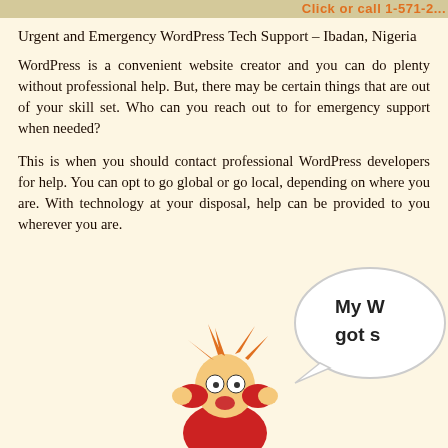Click or call 1-571-2...
Urgent and Emergency WordPress Tech Support – Ibadan, Nigeria
WordPress is a convenient website creator and you can do plenty without professional help. But, there may be certain things that are out of your skill set. Who can you reach out to for emergency support when needed?
This is when you should contact professional WordPress developers for help. You can opt to go global or go local, depending on where you are. With technology at your disposal, help can be provided to you wherever you are.
[Figure (illustration): Cartoon character (Fry from Futurama) with hands on face in panic, with a speech bubble partially visible on the right saying 'My W... got s...']